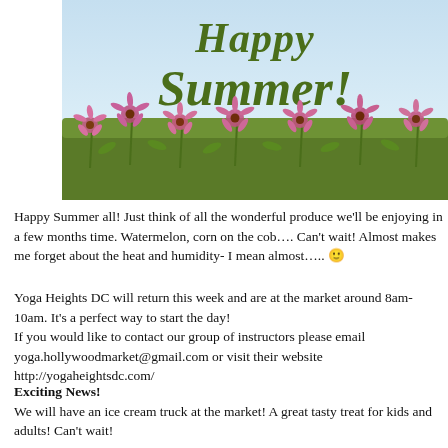[Figure (illustration): Happy Summer greeting image with large italic olive-green script text reading 'Happy Summer!!' over a field of pink coneflowers/echinacea with a light blue sky background.]
Happy Summer all! Just think of all the wonderful produce we'll be enjoying in a few months time. Watermelon, corn on the cob…. Can't wait! Almost makes me forget about the heat and humidity- I mean almost….. 🙂
Yoga Heights DC will return this week and are at the market around 8am-10am. It's a perfect way to start the day!
If you would like to contact our group of instructors please email yoga.hollywoodmarket@gmail.com or visit their website http://yogaheightsdc.com/
Exciting News!
We will have an ice cream truck at the market! A great tasty treat for kids and adults! Can't wait!